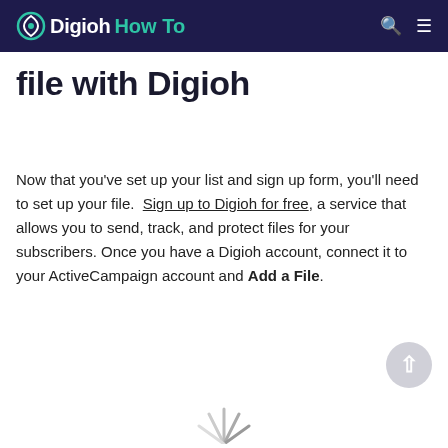Digioh How To
file with Digioh
Now that you've set up your list and sign up form, you'll need to set up your file.  Sign up to Digioh for free, a service that allows you to send, track, and protect files for your subscribers. Once you have a Digioh account, connect it to your ActiveCampaign account and Add a File.
[Figure (illustration): Loading spinner / partial illustration at bottom of page]